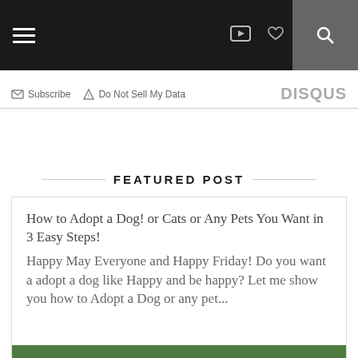Navigation bar with hamburger menu, YouTube icon, heart icon, and search icon
Subscribe   Do Not Sell My Data   DISQUS
FEATURED POST
How to Adopt a Dog! or Cats or Any Pets You Want in 3 Easy Steps! Happy May Everyone and Happy Friday! Do you want a adopt a dog like Happy and be happy? Let me show you how to Adopt a Dog or any pet...